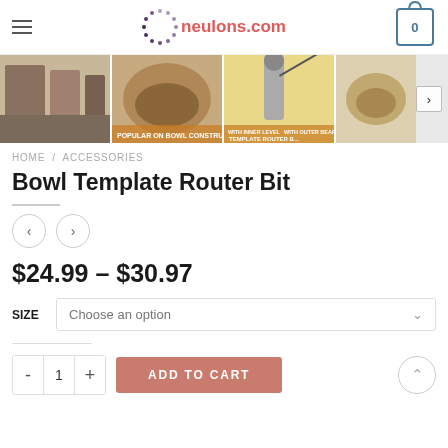neulons.com — navigation header with hamburger menu, logo, and cart icon showing 0
[Figure (photo): Strip of 4 product thumbnail images showing workshop/woodworking scenes, bowl images, and router bit product shots]
HOME / ACCESSORIES
Bowl Template Router Bit
$24.99 – $30.97
SIZE — Choose an option dropdown
ADD TO CART — quantity selector with minus, 1, plus buttons